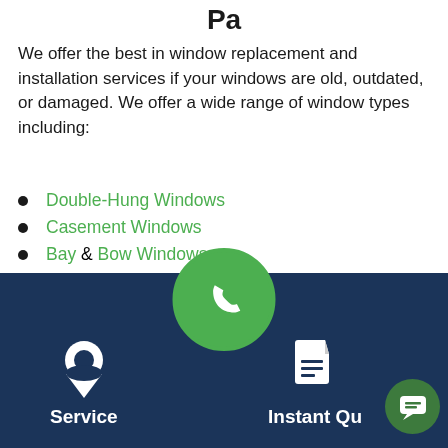Pa
We offer the best in window replacement and installation services if your windows are old, outdated, or damaged. We offer a wide range of window types including:
Double-Hung Windows
Casement Windows
Bay & Bow Windows
Sliding Windows
Awning Windows
Picture Windo...
[Figure (infographic): Dark navy bottom bar with location pin icon labeled Service on the left, a green phone button in the center overlapping the white and dark sections, a document icon labeled Instant Quote on the right, and a small green chat bubble button at bottom right.]